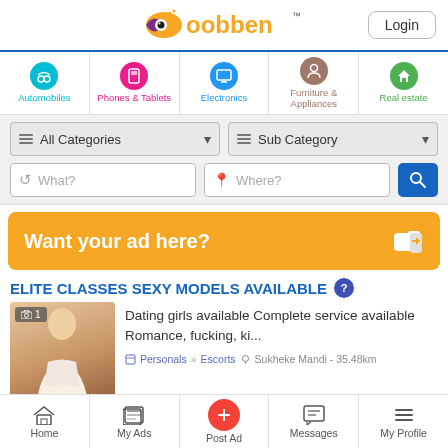[Figure (logo): Oobben classified ads website logo with orange and purple fish/eye icon and orange text 'oobben' with TM mark]
Login
[Figure (infographic): Navigation category icons: Automobiles (teal), Phones & Tablets (pink), Electronics (blue), Furniture & Appliances (brown), Real estate (green)]
Automobiles  Phones & Tablets  Electronics  Furniture & Appliances  Real estate
[Figure (screenshot): Search bar with All Categories dropdown, Sub Category dropdown, What? text field, Where? text field, and blue search button]
[Figure (infographic): Orange banner: Want your ad here? with thumbs up icon]
Want your ad here?
ELITE CLASSES SEXY MODELS AVAILABLE
[Figure (photo): Woman in white outfit posing, with photo count badge showing camera icon and 1]
Dating girls available Complete service available Romance, fucking, ki...
Personals » Escorts  Sukheke Mandi - 35.48km
Home  My Ads  Post Ad  Messages  My Profile